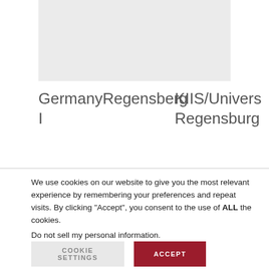[Figure (other): Gray rectangular placeholder box at the top of the page]
Germany I
Regensberg
KIIS/Univers Regensburg
We use cookies on our website to give you the most relevant experience by remembering your preferences and repeat visits. By clicking “Accept”, you consent to the use of ALL the cookies.
Do not sell my personal information.
COOKIE SETTINGS   ACCEPT